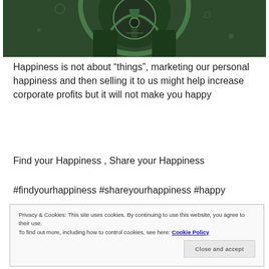[Figure (illustration): Dark green toned illustration showing an archway or dome with a figure, decorative elements and stone textures]
Happiness is not about “things”, marketing our personal happiness and then selling it to us might help increase corporate profits but it will not make you happy
Find your Happiness , Share your Happiness
#findyourhappiness #shareyourhappiness #happy
Privacy & Cookies: This site uses cookies. By continuing to use this website, you agree to their use.
To find out more, including how to control cookies, see here: Cookie Policy
Close and accept